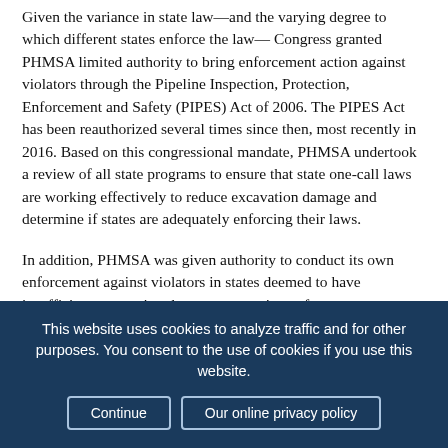Given the variance in state law—and the varying degree to which different states enforce the law— Congress granted PHMSA limited authority to bring enforcement action against violators through the Pipeline Inspection, Protection, Enforcement and Safety (PIPES) Act of 2006. The PIPES Act has been reauthorized several times since then, most recently in 2016. Based on this congressional mandate, PHMSA undertook a review of all state programs to ensure that state one-call laws are working effectively to reduce excavation damage and determine if states are adequately enforcing their laws.
In addition, PHMSA was given authority to conduct its own enforcement against violators in states deemed to have insufficient excavation damage prevention enforcement programs. This allows the agency to enforce federal
This website uses cookies to analyze traffic and for other purposes. You consent to the use of cookies if you use this website.